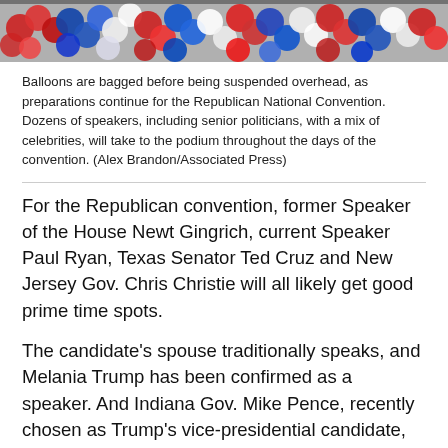[Figure (photo): Close-up photo of red, white, and blue balloons clustered together, being prepared for the Republican National Convention.]
Balloons are bagged before being suspended overhead, as preparations continue for the Republican National Convention. Dozens of speakers, including senior politicians, with a mix of celebrities, will take to the podium throughout the days of the convention. (Alex Brandon/Associated Press)
For the Republican convention, former Speaker of the House Newt Gingrich, current Speaker Paul Ryan, Texas Senator Ted Cruz and New Jersey Gov. Chris Christie will all likely get good prime time spots.
The candidate's spouse traditionally speaks, and Melania Trump has been confirmed as a speaker. And Indiana Gov. Mike Pence, recently chosen as Trump's vice-presidential candidate, will also make prime time.